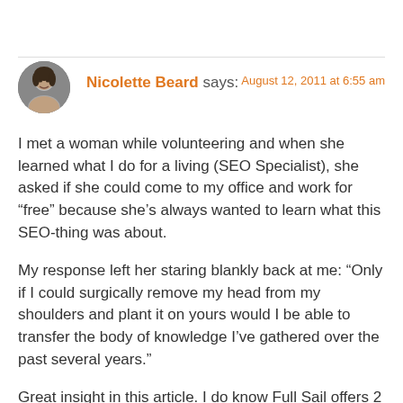Nicolette Beard says:  August 12, 2011 at 6:55 am
I met a woman while volunteering and when she learned what I do for a living (SEO Specialist), she asked if she could come to my office and work for “free” because she’s always wanted to learn what this SEO-thing was about.
My response left her staring blankly back at me: “Only if I could surgically remove my head from my shoulders and plant it on yours would I be able to transfer the body of knowledge I’ve gathered over the past several years.”
Great insight in this article. I do know Full Sail offers 2 yr accreditation in Internet Marketing.